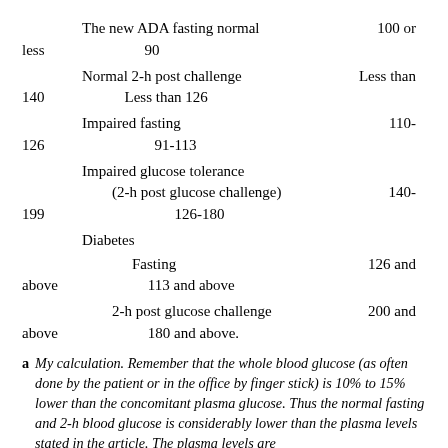The new ADA fasting normal    100 or less    90
Normal 2-h post challenge    Less than 140    Less than 126
Impaired fasting    110-126    91-113
Impaired glucose tolerance (2-h post glucose challenge)    140-199    126-180
Diabetes
Fasting    126 and above    113 and above
2-h post glucose challenge    200 and above    180 and above.
a My calculation. Remember that the whole blood glucose (as often done by the patient or in the office by finger stick) is 10% to 15% lower than the concomitant plasma glucose. Thus the normal fasting and 2-h blood glucose is considerably lower than the plasma levels stated in the article. The plasma levels are